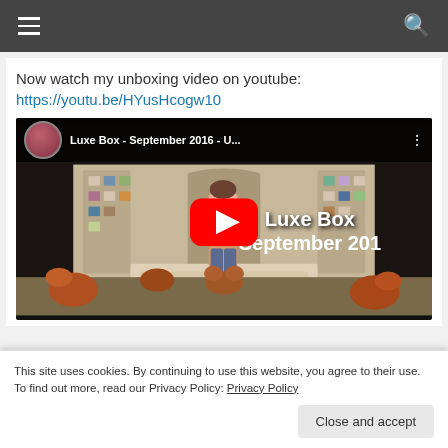Navigation header with hamburger menu and search icon
Now watch my unboxing video on youtube: https://youtu.be/HYusHcogw10
[Figure (screenshot): YouTube video thumbnail showing 'Luxe Box - September 2016 - U...' with a 3D animated character standing among small bear figures in a decorated room. Red YouTube play button in center. Overlay text reads 'Luxe Box September 201']
This site uses cookies. By continuing to use this website, you agree to their use. To find out more, read our Privacy Policy: Privacy Policy